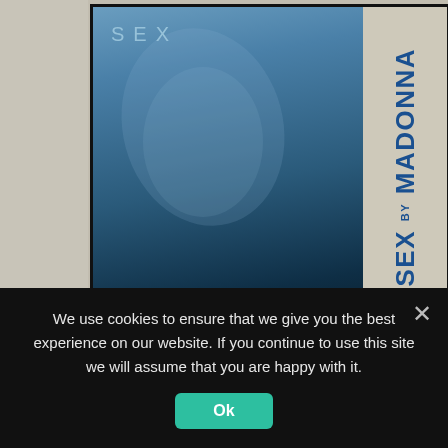[Figure (photo): Book cover of 'SEX by MADONNA' — a blue-tinted photo of a woman with head tilted back, text 'SEX' in top-left, and vertical spine text 'SEX by MADONNA' in bold blue on a cream/tan spine, set against a light wood/cream background frame.]
We use cookies to ensure that we give you the best experience on our website. If you continue to use this site we will assume that you are happy with it.